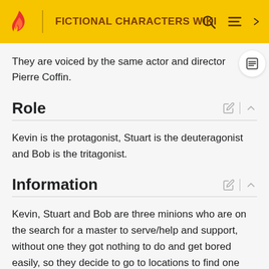FICTIONAL CHARACTERS WIKI
They are voiced by the same actor and director Pierre Coffin.
Role
Kevin is the protagonist, Stuart is the deuteragonist and Bob is the tritagonist.
Information
Kevin, Stuart and Bob are three minions who are on the search for a master to serve/help and support, without one they got nothing to do and get bored easily, so they decide to go to locations to find one and then come